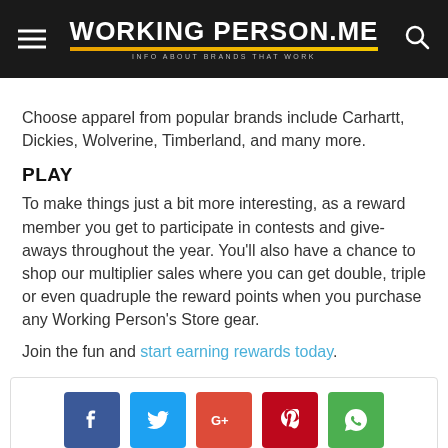WORKING PERSON .ME — INFO ABOUT BRANDS THAT WORK
Choose apparel from popular brands include Carhartt, Dickies, Wolverine, Timberland, and many more.
PLAY
To make things just a bit more interesting, as a reward member you get to participate in contests and give-aways throughout the year. You'll also have a chance to shop our multiplier sales where you can get double, triple or even quadruple the reward points when you purchase any Working Person's Store gear.
Join the fun and start earning rewards today.
[Figure (infographic): Social media share buttons: Facebook (blue), Twitter (light blue), Google+ (red-orange), Pinterest (dark red), WhatsApp (green)]